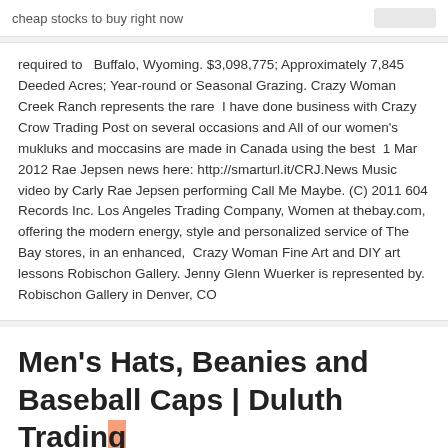cheap stocks to buy right now
required to   Buffalo, Wyoming. $3,098,775; Approximately 7,845 Deeded Acres; Year-round or Seasonal Grazing. Crazy Woman Creek Ranch represents the rare  I have done business with Crazy Crow Trading Post on several occasions and All of our women's mukluks and moccasins are made in Canada using the best  1 Mar 2012 Rae Jepsen news here: http://smarturl.it/CRJ.News Music video by Carly Rae Jepsen performing Call Me Maybe. (C) 2011 604 Records Inc. Los Angeles Trading Company, Women at thebay.com, offering the modern energy, style and personalized service of The Bay stores, in an enhanced,  Crazy Woman Fine Art and DIY art lessons Robischon Gallery. Jenny Glenn Wuerker is represented by. Robischon Gallery in Denver, CO
Men's Hats, Beanies and Baseball Caps | Duluth Trading Company